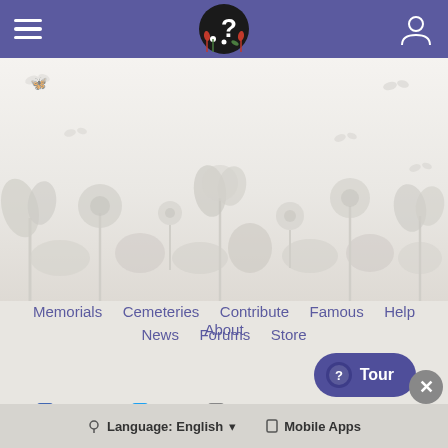Find A Grave - navigation header with hamburger menu, logo, and user icon
[Figure (illustration): Decorative floral and botanical silhouette background in light gray tones with butterflies]
Memorials · Cemeteries · Contribute · Famous · Help · About · News · Forums · Store
Tour
Facebook · Twitter · Instagram · Website Feedback
Language: English ▾ · Mobile Apps